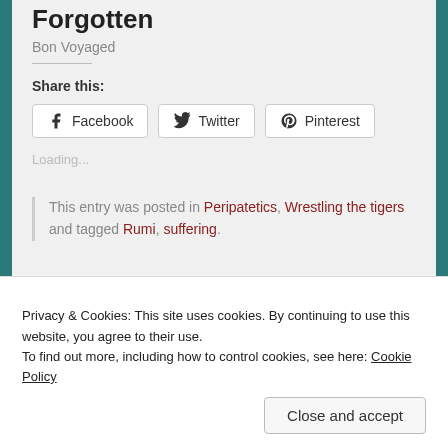Forgotten
Bon Voyaged
Share this:
Facebook  Twitter  Pinterest
Loading...
This entry was posted in Peripatetics, Wrestling the tigers and tagged Rumi, suffering.
Privacy & Cookies: This site uses cookies. By continuing to use this website, you agree to their use.
To find out more, including how to control cookies, see here: Cookie Policy
Close and accept